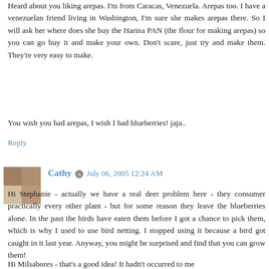Heard about you liking arepas. I'm from Caracas, Venezuela. Arepas too. I have a venezuelan friend living in Washington, I'm sure she makes arepas there. So I will ask her where does she buy the Harina PAN (the flour for making arepas) so you can go buy it and make your own. Don't scare, just try and make them. They're very easy to make.
You wish you had arepas, I wish I had blueberries! jaja..
Reply
Cathy  July 06, 2005 12:24 AM
Hi Stephanie - actually we have a real deer problem here - they consumer practically every other plant - but for some reason they leave the blueberries alone. In the past the birds have eaten them before I got a chance to pick them, which is why I used to use bird netting. I stopped using it because a bird got caught in it last year. Anyway, you might be surprised and find that you can grow them!
Hi Milsabores - that's a good idea! It hadn't occurred to me